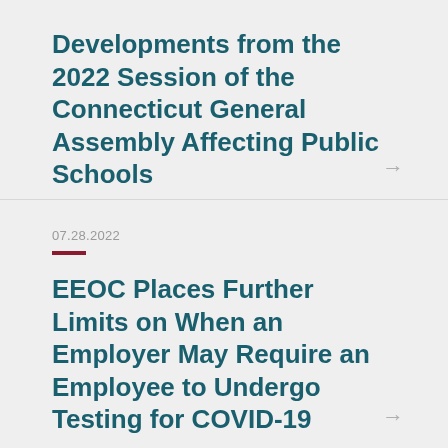Developments from the 2022 Session of the Connecticut General Assembly Affecting Public Schools
07.28.2022
EEOC Places Further Limits on When an Employer May Require an Employee to Undergo Testing for COVID-19